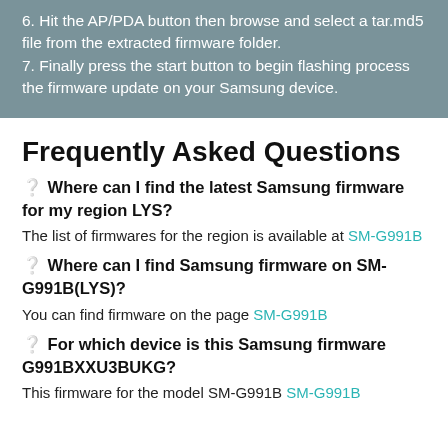6. Hit the AP/PDA button then browse and select a tar.md5 file from the extracted firmware folder.
7. Finally press the start button to begin flashing process the firmware update on your Samsung device.
Frequently Asked Questions
❓ Where can I find the latest Samsung firmware for my region LYS?
The list of firmwares for the region is available at SM-G991B
❓ Where can I find Samsung firmware on SM-G991B(LYS)?
You can find firmware on the page SM-G991B
❓ For which device is this Samsung firmware G991BXXU3BUKG?
This firmware for the model SM-G991B SM-G991B